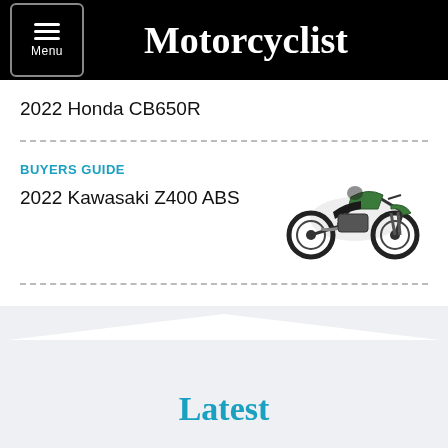Motorcyclist
2022 Honda CB650R
BUYERS GUIDE
2022 Kawasaki Z400 ABS
[Figure (photo): Green Kawasaki Z400 ABS motorcycle side profile view]
Latest
PHOTO GALLERIES